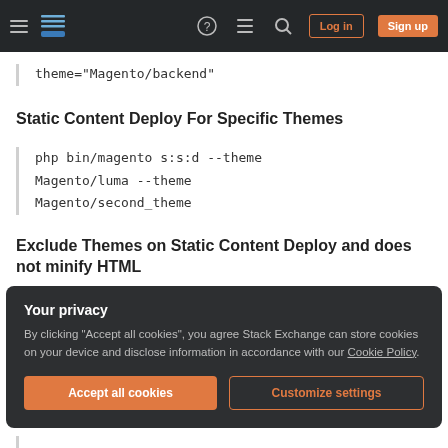Stack Exchange navigation bar with hamburger menu, logo, help, chat, search icons, Login and Sign up buttons
theme="Magento/backend"
Static Content Deploy For Specific Themes
php bin/magento s:s:d --theme Magento/luma --theme Magento/second_theme
Exclude Themes on Static Content Deploy and does not minify HTML
Your privacy
By clicking "Accept all cookies", you agree Stack Exchange can store cookies on your device and disclose information in accordance with our Cookie Policy.
Accept all cookies  Customize settings